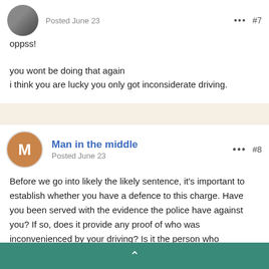[Figure (photo): User avatar photo (partial, top of page)]
Posted June 23
#7
oppss!

you wont be doing that again
i think you are lucky you only got inconsiderate driving.
Man in the middle
Posted June 23
#8
Before we go into likely the likely sentence, it's important to establish whether you have a defence to this charge. Have you been served with the evidence the police have against you? If so, does it provide any proof of who was inconvenienced by your driving? Is it the person who submitted the dashcam footage?

As to the likely sentence, the offence carries between three and nine penalty points or a ban. However, a ban would only be considered for the
^